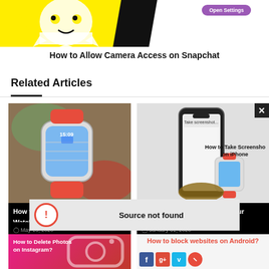[Figure (screenshot): Partial screenshot showing Snapchat yellow background and Open Settings button]
How to Allow Camera Access on Snapchat
Related Articles
[Figure (photo): Photo of Apple Watch with Google Maps displayed on screen, with red band]
How to Use Google Maps on Apple Watch
May 13, 2020
[Figure (photo): Photo of iPhone and Apple Watch being held, showing screenshot interface. Label: How to Take Screenshot on iPhone]
How to Take Screenshot on Your iPhone Easily
January 31, 2020
[Figure (screenshot): Error dialog: Source not found]
[Figure (photo): How to Delete Photos on Instagram - pink/red gradient background with camera icon]
[Figure (screenshot): How to block websites on Android? - with social media icons]